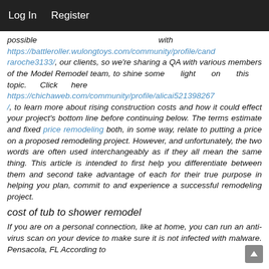Log In   Register
possible with https://battleroller.wulongtoys.com/community/profile/candraroche3133/, our clients, so we're sharing a QA with various members of the Model Remodel team, to shine some light on this topic. Click here https://chichaweb.com/community/profile/alicai521398267/, to learn more about rising construction costs and how it could effect your project's bottom line before continuing below. The terms estimate and fixed price remodeling both, in some way, relate to putting a price on a proposed remodeling project. However, and unfortunately, the two words are often used interchangeably as if they all mean the same thing. This article is intended to first help you differentiate between them and second take advantage of each for their true purpose in helping you plan, commit to and experience a successful remodeling project.
cost of tub to shower remodel
If you are on a personal connection, like at home, you can run an anti-virus scan on your device to make sure it is not infected with malware. Pensacola, FL According to